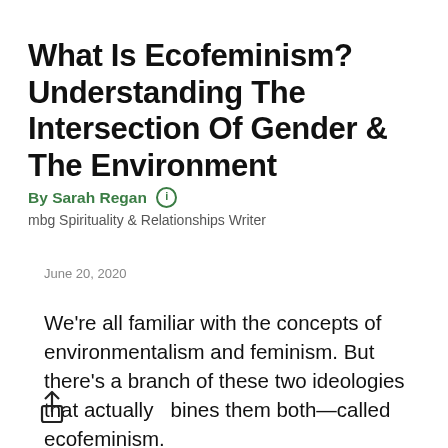What Is Ecofeminism? Understanding The Intersection Of Gender & The Environment
By Sarah Regan
mbg Spirituality & Relationships Writer
June 20, 2020
We're all familiar with the concepts of environmentalism and feminism. But there's a branch of these two ideologies that actually combines them both—called ecofeminism.